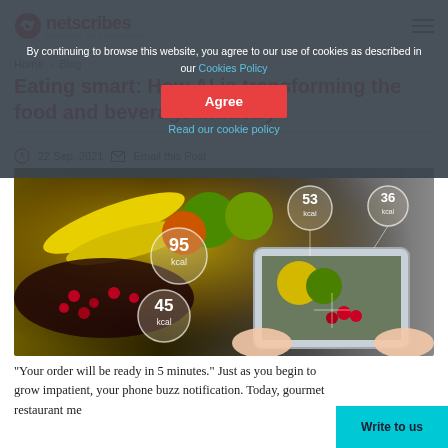netscribes
By continuing to browse this website, you agree to our use of cookies as described in our Cookies Policy
Agree
Read our cookie policy
Home > Blog
Eating smart: How AI is transforming the food and beverage industry
22 Sep, 2021   Email this Post
[Figure (photo): Person holding a tablet scanning fruits (bananas, apples, berries) with AI calorie overlays showing 95 kcal, 53 kcal, 36 kcal, 45 kcal circles]
"Your order will be ready in 5 minutes." Just as you begin to grow impatient, your phone buzz notification. Today, gourmet restaurant me